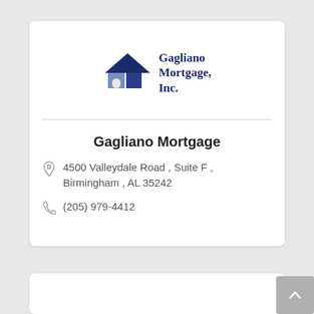[Figure (logo): Gagliano Mortgage, Inc. logo: a house icon with dark navy and steel blue panels, with company name text in navy serif font]
Gagliano Mortgage
4500 Valleydale Road , Suite F , Birmingham , AL 35242
(205) 979-4412